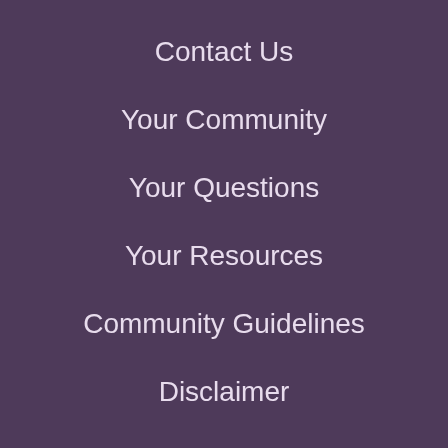Contact Us
Your Community
Your Questions
Your Resources
Community Guidelines
Disclaimer